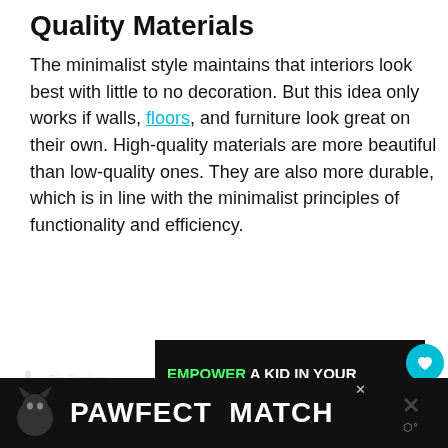Quality Materials
The minimalist style maintains that interiors look best with little to no decoration. But this idea only works if walls, floors, and furniture look great on their own. High-quality materials are more beautiful than low-quality ones. They are also more durable, which is in line with the minimalist principles of functionality and efficiency.
[Figure (other): Big Brothers Big Sisters advertisement banner: 'EMPOWER A KID IN YOUR COMMUNITY TODAY.' with Learn How button, and BBBS logo on left. Close button top right.]
[Figure (other): PAWFECT MATCH advertisement banner in black with white bold text and a cat image.]